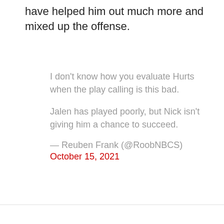have helped him out much more and mixed up the offense.
I don't know how you evaluate Hurts when the play calling is this bad.
Jalen has played poorly, but Nick isn't giving him a chance to succeed.
— Reuben Frank (@RoobNBCS) October 15, 2021